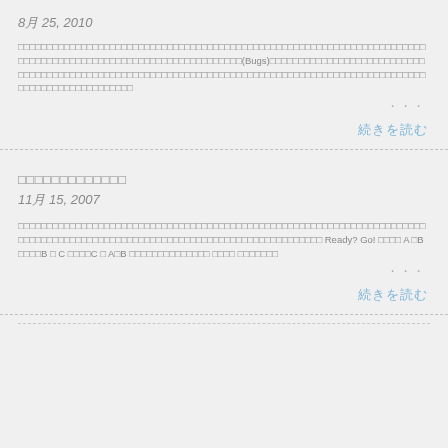8月 25, 2010
□□□□□□□□□□□□□□□□□□□□□□□□□□□□□□□□□□□□□□□□□□□□□□□□□□□□□□□□□□□□□□□□□□□□□□□□□□□□□□□□□□□□□□□□□□□□□□□□□□□□□□□□□□(Bugs)□□□□□□□□□□□□□□□□□□□□□□□□□□□□□□□□□□□□□□□□□□□□□□□□□□□□□□□□□□□□□□□□□□□□□□□□□□□□□□□□□□□□□□□□□□□□□□□□□□□□□□□□□□□□□□□□□□□□□□ ...
続きを読む
□□□□□□□□□□□□□
11月 15, 2007
□□□□□□□□□□□□□□□□□□□□□□□□□□□□□□□□□□□□□□□□□□□□□□□□□□□□□□□□□□□□□□□□□□□□□□□□□□□□□□□□□□□□□□□□□□□□□□□□□□□□□□□□□□□□□□□□□□□□□□□□□□□□ Ready? Go! □□□□ A □B □□□□B □ C □□□□C □ A□B □□□□□□□□□□□□□□ □□□□ □□□□□□□ ...
続きを読む